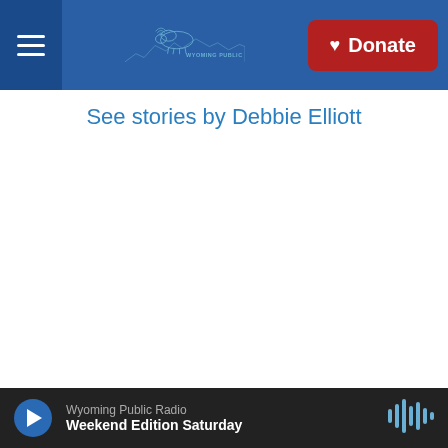[Figure (logo): Wyoming Public Media website header with hamburger menu, Wyoming Public Media logo with bison, and red Donate button]
See stories by Debbie Elliott
[Figure (illustration): Wyoming Public Radio - The Roundup - This Week in Wyoming News newsletter banner with blue background, bison logo, and mountain silhouette]
Newsletters
Get the top stories in local and regional news
Wyoming Public Radio — Weekend Edition Saturday (audio player)